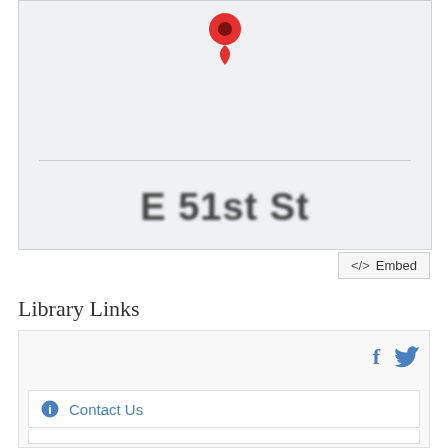[Figure (map): Google Maps embed showing a red location pin marker above a blurred map with street label 'E 51st St']
<> Embed
Library Links
f  (Facebook icon) and bird (Twitter icon) social media icons
ℹ Contact Us